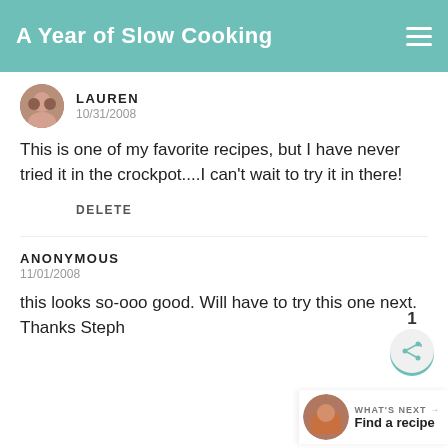A Year of Slow Cooking
LAUREN
10/31/2008
This is one of my favorite recipes, but I have never tried it in the crockpot....I can't wait to try it in there!
DELETE
ANONYMOUS
11/01/2008
this looks so-ooo good. Will have to try this one next. Thanks Steph